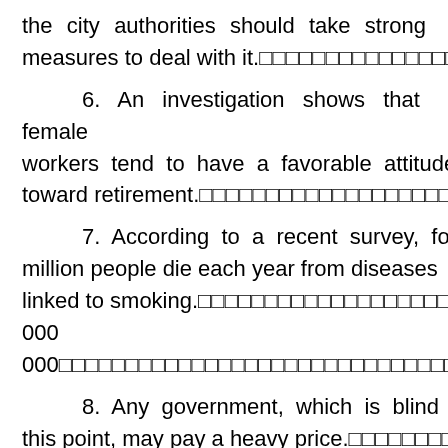the city authorities should take strong measures to deal with it.
6. An investigation shows that female workers tend to have a favorable attitude toward retirement.
7. According to a recent survey, four million people die each year from diseases linked to smoking.　　　　　　　　　　　　　4 000 000
8. Any government, which is blind to this point, may pay a heavy price.